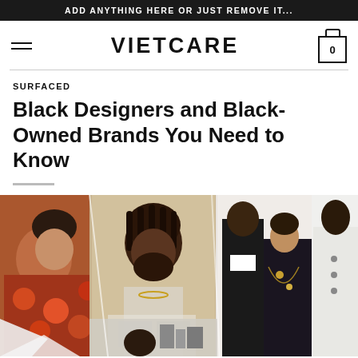ADD ANYTHING HERE OR JUST REMOVE IT...
VIETCARE
SURFACED
Black Designers and Black-Owned Brands You Need to Know
[Figure (photo): Collage of Black designers and models. Left: young person in floral print shirt. Center-top: Black man with beard wearing cream turtleneck and gold chain. Right: two models in formal black and white attire. Bottom-center: man in front of architectural models. Bottom-right: woman with partially visible face.]